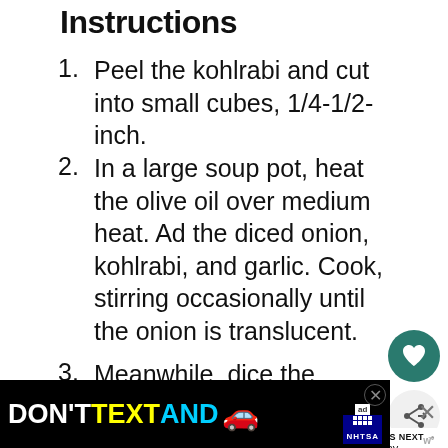Instructions
Peel the kohlrabi and cut into small cubes, 1/4-1/2-inch.
In a large soup pot, heat the olive oil over medium heat. Ad the diced onion, kohlrabi, and garlic. Cook, stirring occasionally until the onion is translucent.
Meanwhile, dice the bulb of fennel. Add to the pot and cook for a minute or two.
Pour in the water or stock and add a teaspoon of salt and the cleaned… Bring to a boil and then reduce to a simmer for 20 minutes.
[Figure (screenshot): Ad banner at bottom: DON'T TEXT AND with a car emoji, NHTSA badge. Side UI: heart/save button, share button. What's Next overlay with Creamy Mushroom... thumbnail.]